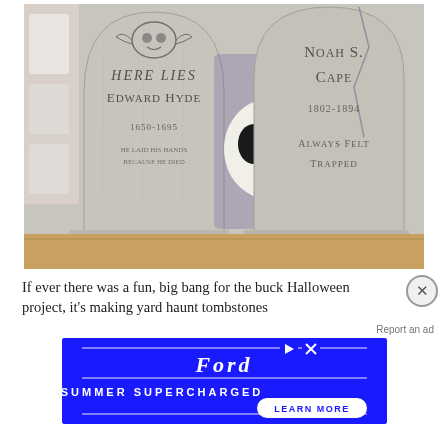[Figure (photo): Photo of Halloween tombstone decorations. Left tombstone reads 'HERE LIES EDWARD HYDE 1650-1695' with skull motif at top. Right tombstone reads 'NOAH S. CAPE 1802-1894 ALWAYS FELT TRAPPED'. Middle features a large skull prop. Items are displayed in what appears to be a store.]
If ever there was a fun, big bang for the buck Halloween project, it's making yard haunt tombstones
[Figure (other): Ford Summer Supercharged advertisement banner with blue background, Ford logo, tagline 'SUMMER SUPERCHARGED' and 'LEARN MORE' call-to-action button.]